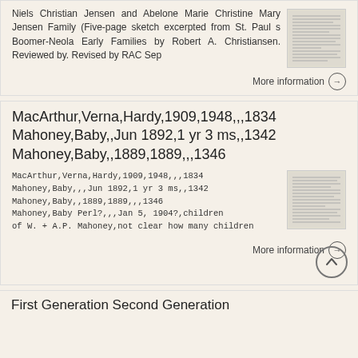Niels Christian Jensen and Abelone Marie Christine Mary Jensen Family (Five-page sketch excerpted from St. Paul s Boomer-Neola Early Families by Robert A. Christiansen. Reviewed by. Revised by RAC Sep
More information →
MacArthur,Verna,Hardy,1909,1948,,,1834 Mahoney,Baby,,Jun 1892,1 yr 3 ms,,1342 Mahoney,Baby,,1889,1889,,,1346
MacArthur,Verna,Hardy,1909,1948,,,1834 Mahoney,Baby,,,Jun 1892,1 yr 3 ms,,1342 Mahoney,Baby,,1889,1889,,,1346 Mahoney,Baby Perl?,,,Jan 5, 1904?,children of W. + A.P. Mahoney,not clear how many children
More information →
First Generation Second Generation